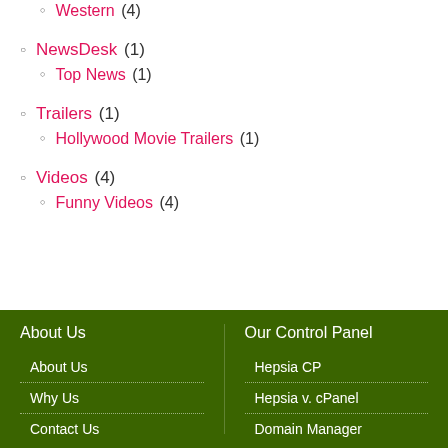Western (4)
NewsDesk (1)
Top News (1)
Trailers (1)
Hollywood Movie Trailers (1)
Videos (4)
Funny Videos (4)
About Us | About Us | Why Us | Contact Us | Our Control Panel | Hepsia CP | Hepsia v. cPanel | Domain Manager